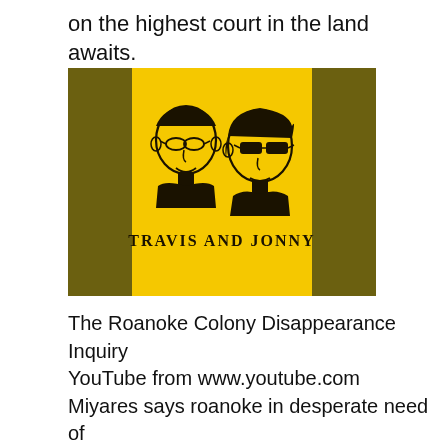on the highest court in the land awaits.
[Figure (illustration): Illustration of two people (Travis and Jonny) drawn in black on a yellow background with dark olive/brown side panels. Text below the figures reads 'TRAVIS AND JONNY'.]
The Roanoke Colony Disappearance Inquiry YouTube from www.youtube.com Miyares says roanoke in desperate need of help to combat gun violence; The french farmhouse home market is located in downtown roanoke, virginia. The college is